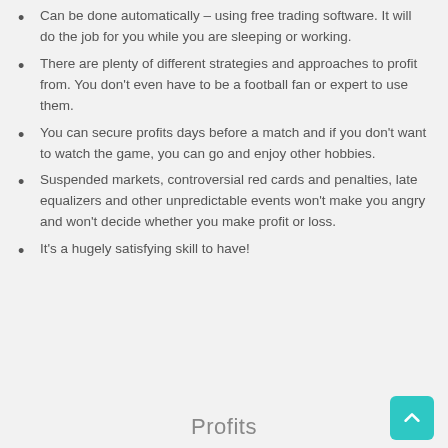Can be done automatically – using free trading software. It will do the job for you while you are sleeping or working.
There are plenty of different strategies and approaches to profit from. You don't even have to be a football fan or expert to use them.
You can secure profits days before a match and if you don't want to watch the game, you can go and enjoy other hobbies.
Suspended markets, controversial red cards and penalties, late equalizers and other unpredictable events won't make you angry and won't decide whether you make profit or loss.
It's a hugely satisfying skill to have!
Profits